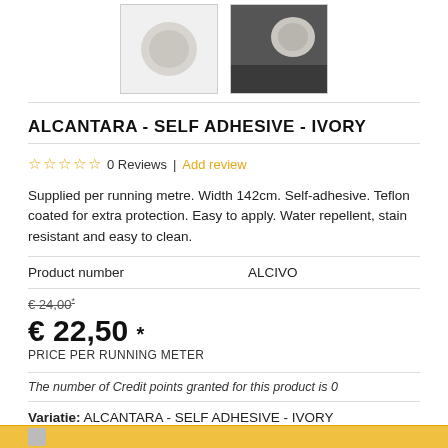[Figure (photo): Two product thumbnail photos: left shows a round ivory/grey disc on white background, right shows a similar disc applied to a dark surface]
ALCANTARA - SELF ADHESIVE - IVORY
0 Reviews | Add review
Supplied per running metre. Width 142cm. Self-adhesive. Teflon coated for extra protection. Easy to apply. Water repellent, stain resistant and easy to clean.
| Product number | ALCIVO |
| --- | --- |
€ 24,00 *
€ 22,50 *
PRICE PER RUNNING METER
The number of Credit points granted for this product is 0
Variatie: ALCANTARA - SELF ADHESIVE - IVORY